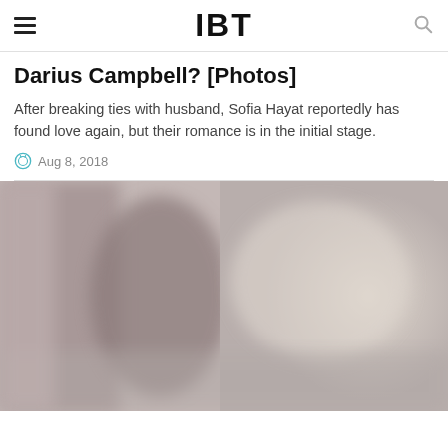IBT
Darius Campbell? [Photos]
After breaking ties with husband, Sofia Hayat reportedly has found love again, but their romance is in the initial stage.
Aug 8, 2018
[Figure (photo): Blurred/out-of-focus photograph, colors are muted pinkish-grey and beige tones, showing indistinct figures or subjects]